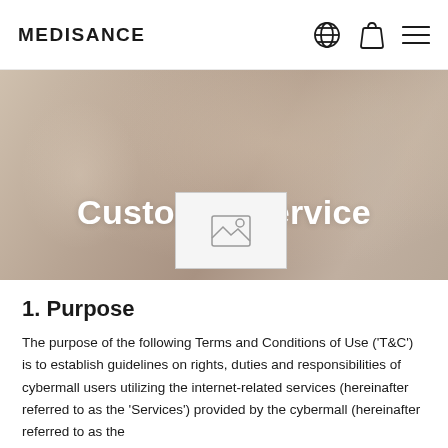MEDISANCE
[Figure (photo): Hero banner image showing a person (face partially visible) in soft warm-toned blurred background with 'Customer Service' title overlay]
Customer Service
1. Purpose
The purpose of the following Terms and Conditions of Use ('T&C') is to establish guidelines on rights, duties and responsibilities of cybermall users utilizing the internet-related services (hereinafter referred to as the 'Services') provided by the cybermall (hereinafter referred to as the